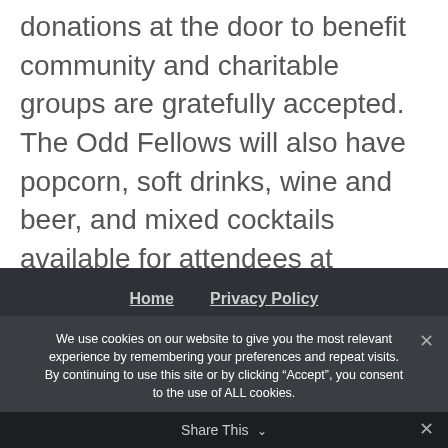donations at the door to benefit community and charitable groups are gratefully accepted. The Odd Fellows will also have popcorn, soft drinks, wine and beer, and mixed cocktails available for attendees at reasonable prices.
Home | Privacy Policy
We use cookies on our website to give you the most relevant experience by remembering your preferences and repeat visits. By continuing to use this site or by clicking “Accept”, you consent to the use of ALL cookies.
Accept | Privacy policy
Share This